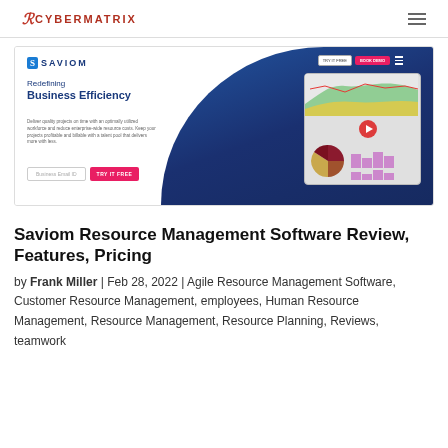CyberMatrix [logo] | hamburger menu
[Figure (screenshot): Saviom software website banner showing 'Redefining Business Efficiency' headline, dashboard screenshot with pie chart and area chart, TRY IT FREE button, Business Email ID input field, navigation buttons TRY IT FREE and BOOK DEMO.]
Saviom Resource Management Software Review, Features, Pricing
by Frank Miller | Feb 28, 2022 | Agile Resource Management Software, Customer Resource Management, employees, Human Resource Management, Resource Management, Resource Planning, Reviews, teamwork